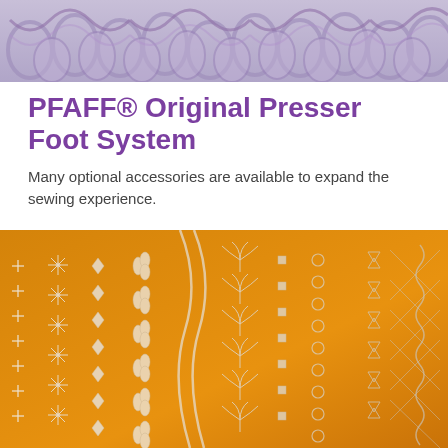[Figure (photo): Close-up of lavender/purple knitted or crocheted fabric with a floral/cable pattern, serving as a top banner image.]
PFAFF® Original Presser Foot System
Many optional accessories are available to expand the sewing experience.
[Figure (photo): Close-up of orange/yellow fabric with rows of white embroidery patterns including floral motifs, geometric shapes, crosses, and decorative stitching rows.]